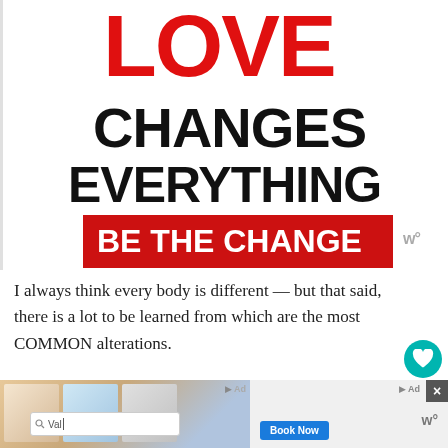[Figure (illustration): Bold typographic image with red 'LOVE' text at top, black 'CHANGES' and 'EVERYTHING' text below, and a red banner with white bold text 'BE THE CHANGE'. A small 'w°' logo appears at the bottom right of the image.]
I always think every body is different — but that said, there is a lot to be learned from which are the most COMMON alterations.
So I thought we'd have a poll: which are the t 5 alterations that you get the most often?